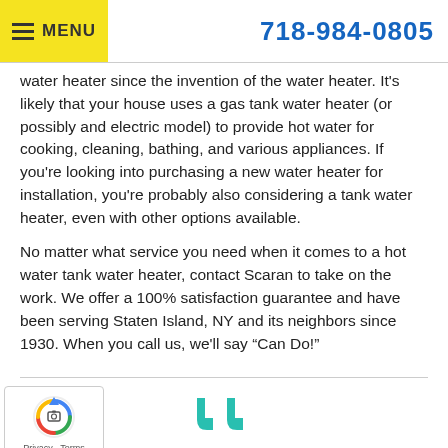Menu | 718-984-0805
water heater since the invention of the water heater. It's likely that your house uses a gas tank water heater (or possibly and electric model) to provide hot water for cooking, cleaning, bathing, and various appliances. If you're looking into purchasing a new water heater for installation, you're probably also considering a tank water heater, even with other options available.
No matter what service you need when it comes to a hot water tank water heater, contact Scaran to take on the work. We offer a 100% satisfaction guarantee and have been serving Staten Island, NY and its neighbors since 1930. When you call us, we'll say “Can Do!”
[Figure (logo): reCAPTCHA badge with rotating arrows logo and Privacy - Terms links]
[Figure (illustration): Teal/turquoise large quotation marks decorative element]
Called Scaran on Friday morning